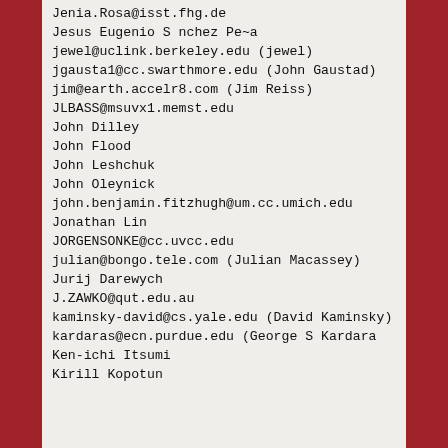Jenia.Rosa@isst.fhg.de
Jesus Eugenio S nchez Pe~a
jewel@uclink.berkeley.edu (jewel)
jgausta1@cc.swarthmore.edu (John Gaustad)
jim@earth.accelr8.com (Jim Reiss)
JLBASS@msuvx1.memst.edu
John Dilley
John Flood
John Leshchuk
John Oleynick
john.benjamin.fitzhugh@um.cc.umich.edu
Jonathan Lin
JORGENSONKE@cc.uvcc.edu
julian@bongo.tele.com (Julian Macassey)
Jurij Darewych
J.ZAWKO@qut.edu.au
kaminsky-david@cs.yale.edu (David Kaminsky)
kardaras@ecn.purdue.edu (George S Kardara...
Ken-ichi Itsumi
Kirill Kopotun